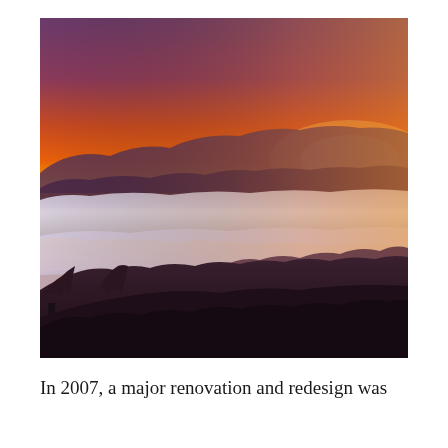[Figure (photo): Aerial mountain landscape at sunset with dramatic orange and red sky above purple mountain silhouettes. A thick layer of white clouds fills the valley below, with dark forested ridge lines visible in the foreground.]
In 2007, a major renovation and redesign was